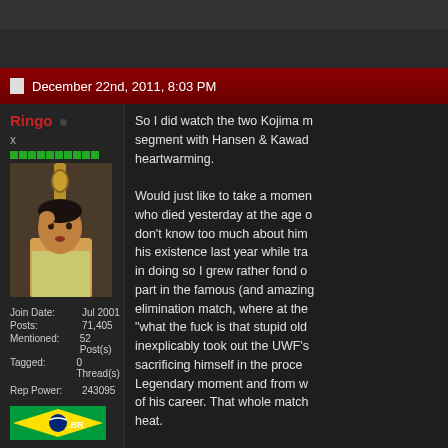December 22nd, 2011, 8:03 PM
Ringo
x
[Figure (photo): Avatar photo of a man singing into a microphone]
| Join Date: | Jul 2001 |
| Posts: | 71,405 |
| Mentioned: | 52 Post(s) |
| Tagged: | 0 Thread(s) |
| Rep Power: | 243095 |
[Figure (illustration): Brazilian flag icon with .BR text]
So I did watch the two Kojima m segment with Hansen & Kawad heartwarming.

Would just like to take a momen who died yesterday at the age o don't know too much about him his existence last year while tra in doing so I grew rather fond o part in the famous (and amazin elimination match, where at the "what the fuck is that stupid old inexplicably took out the UWF's sacrificing himself in the proce Legendary moment and from w of his career. That whole match heat.

Oh and apparently he featured
http://slam.canoe.ca/Slam/Wres
He also quite clearly inspired th Ziggler and Yano.